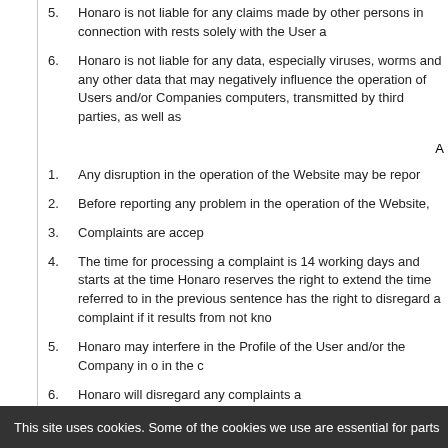5. Honaro is not liable for any claims made by other persons in connection with rests solely with the User a
6. Honaro is not liable for any data, especially viruses, worms and any other data that may negatively influence the operation of Users and/or Companies computers, transmitted by third parties, as well as
A
1. Any disruption in the operation of the Website may be repor
2. Before reporting any problem in the operation of the Website,
3. Complaints are accep
4. The time for processing a complaint is 14 working days and starts at the time Honaro reserves the right to extend the time referred to in the previous sentence has the right to disregard a complaint if it results from not kno
5. Honaro may interfere in the Profile of the User and/or the Company in o in the c
6. Honaro will disregard any complaints a
7. Honaro is not liable for the proper operation of the User/Company
Article 7. CHANG
This site uses cookies. Some of the cookies we use are essential for parts